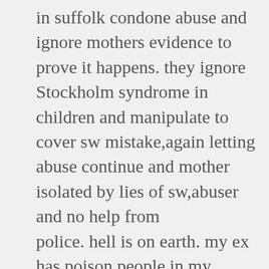in suffolk condone abuse and ignore mothers evidence to prove it happens. they ignore Stockholm syndrome in children and manipulate to cover sw mistake,again letting abuse continue and mother isolated by lies of sw,abuser and no help from police. hell is on earth. my ex has poison people in my family, me and my children kidnap by him. threats to kill my kids if he has to confess. what do i do? i can't get help locally as corruption has shown me it